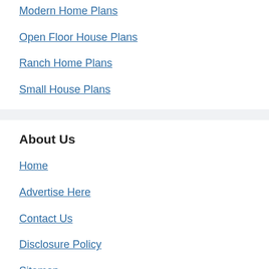Modern Home Plans
Open Floor House Plans
Ranch Home Plans
Small House Plans
About Us
Home
Advertise Here
Contact Us
Disclosure Policy
Sitemap